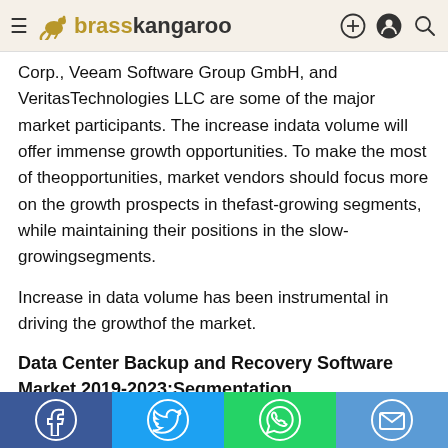brasskangaroo
Corp., Veeam Software Group GmbH, and VeritasTechnologies LLC are some of the major market participants. The increase indata volume will offer immense growth opportunities. To make the most of theopportunities, market vendors should focus more on the growth prospects in thefast-growing segments, while maintaining their positions in the slow-growingsegments.
Increase in data volume has been instrumental in driving the growthof the market.
Data Center Backup and Recovery Software Market 2019-2023:Segmentation
Social share bar: Facebook, Twitter, WhatsApp, Email